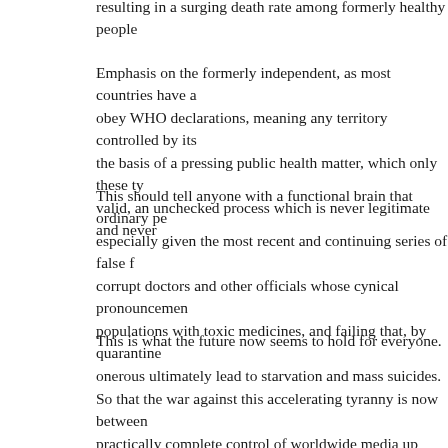resulting in a surging death rate among formerly healthy people
Emphasis on the formerly independent, as most countries have a obey WHO declarations, meaning any territory controlled by its the basis of a pressing public health matter, which only these ty valid, an unchecked process which is never legitimate and never
This should tell anyone with a functional brain that ordinary pe especially given the most recent and continuing series of false f corrupt doctors and other officials whose cynical pronouncemen populations with toxic medicines, and failing that, by quarantine onerous ultimately lead to starvation and mass suicides.
This is what the future now seems to hold for everyone.
So that the war against this accelerating tyranny is now between practically complete control of worldwide media up against a sh investigators who remember the old ways of a world when emp instead of unfathomably large amounts of money inventing truth